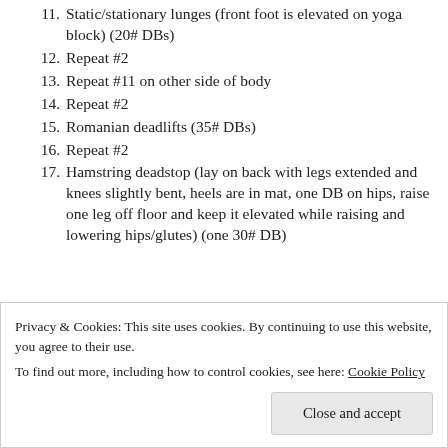11. Static/stationary lunges (front foot is elevated on yoga block) (20# DBs)
12. Repeat #2
13. Repeat #11 on other side of body
14. Repeat #2
15. Romanian deadlifts (35# DBs)
16. Repeat #2
17. Hamstring deadstop (lay on back with legs extended and knees slightly bent, heels are in mat, one DB on hips, raise one leg off floor and keep it elevated while raising and lowering hips/glutes) (one 30# DB)
18. Repeat #2
Privacy & Cookies: This site uses cookies. By continuing to use this website, you agree to their use.
To find out more, including how to control cookies, see here: Cookie Policy